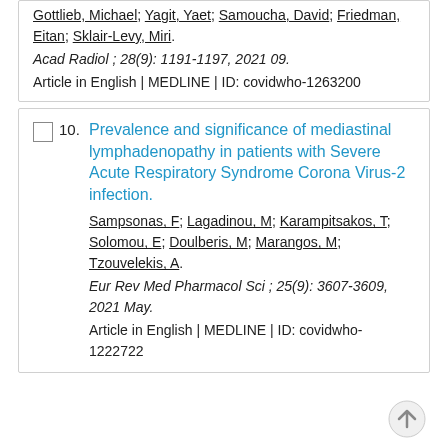Gottlieb, Michael; Yagit, Yaet; Samoucha, David; Friedman, Eitan; Sklair-Levy, Miri. Acad Radiol ; 28(9): 1191-1197, 2021 09. Article in English | MEDLINE | ID: covidwho-1263200
Prevalence and significance of mediastinal lymphadenopathy in patients with Severe Acute Respiratory Syndrome Corona Virus-2 infection.
Sampsonas, F; Lagadinou, M; Karampitsakos, T; Solomou, E; Doulberis, M; Marangos, M; Tzouvelekis, A. Eur Rev Med Pharmacol Sci ; 25(9): 3607-3609, 2021 May. Article in English | MEDLINE | ID: covidwho-1222722